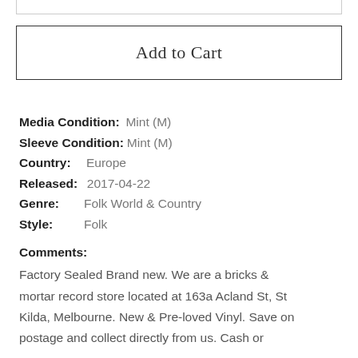Add to Cart
Media Condition: Mint (M)
Sleeve Condition: Mint (M)
Country: Europe
Released: 2017-04-22
Genre: Folk World & Country
Style: Folk
Comments:
Factory Sealed Brand new. We are a bricks & mortar record store located at 163a Acland St, St Kilda, Melbourne. New & Pre-loved Vinyl. Save on postage and collect directly from us. Cash or